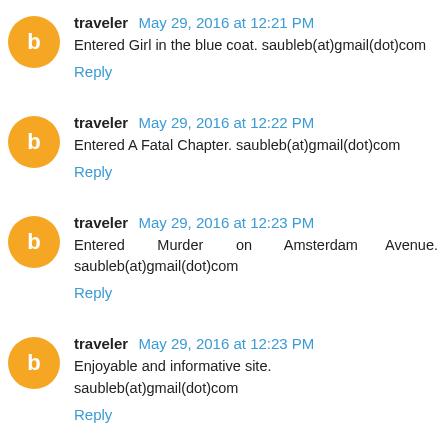traveler May 29, 2016 at 12:21 PM
Entered Girl in the blue coat. saubleb(at)gmail(dot)com
Reply
traveler May 29, 2016 at 12:22 PM
Entered A Fatal Chapter. saubleb(at)gmail(dot)com
Reply
traveler May 29, 2016 at 12:23 PM
Entered Murder on Amsterdam Avenue. saubleb(at)gmail(dot)com
Reply
traveler May 29, 2016 at 12:23 PM
Enjoyable and informative site. saubleb(at)gmail(dot)com
Reply